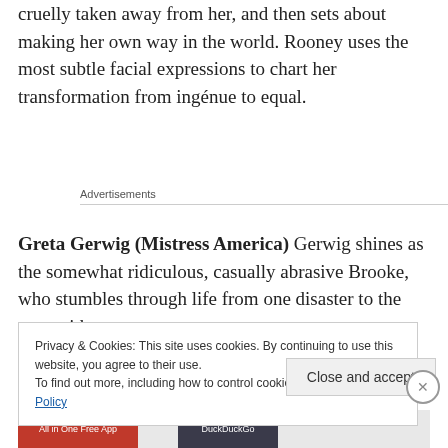cruelly taken away from her, and then sets about making her own way in the world. Rooney uses the most subtle facial expressions to chart her transformation from ingénue to equal.
Advertisements
Greta Gerwig (Mistress America) Gerwig shines as the somewhat ridiculous, casually abrasive Brooke, who stumbles through life from one disaster to the next with
Privacy & Cookies: This site uses cookies. By continuing to use this website, you agree to their use.
To find out more, including how to control cookies, see here: Cookie Policy
Close and accept